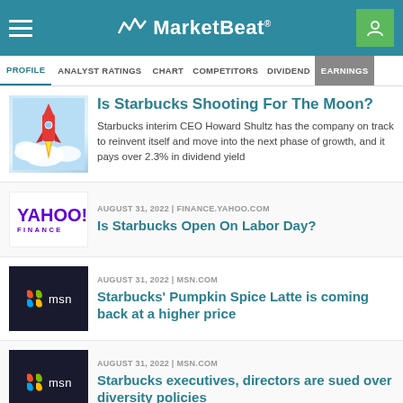MarketBeat
PROFILE | ANALYST RATINGS | CHART | COMPETITORS | DIVIDEND | EARNINGS
[Figure (illustration): Rocket launching with clouds illustration for Starbucks article]
Is Starbucks Shooting For The Moon?
Starbucks interim CEO Howard Shultz has the company on track to reinvent itself and move into the next phase of growth, and it pays over 2.3% in dividend yield
[Figure (logo): Yahoo Finance logo]
AUGUST 31, 2022 | FINANCE.YAHOO.COM
Is Starbucks Open On Labor Day?
[Figure (logo): MSN logo on dark background]
AUGUST 31, 2022 | MSN.COM
Starbucks' Pumpkin Spice Latte is coming back at a higher price
[Figure (logo): MSN logo on dark background]
AUGUST 31, 2022 | MSN.COM
Starbucks executives, directors are sued over diversity policies